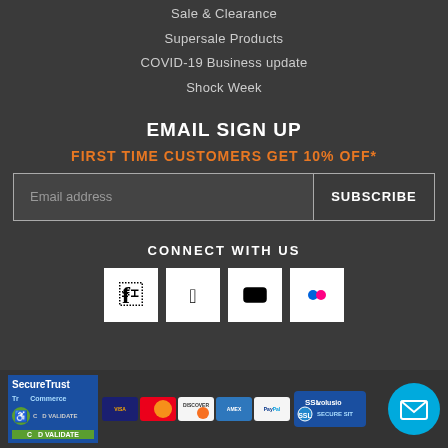Sale & Clearance
Supersale Products
COVID-19 Business update
Shock Week
EMAIL SIGN UP
FIRST TIME CUSTOMERS GET 10% OFF*
Email address
SUBSCRIBE
CONNECT WITH US
[Figure (infographic): Social media icons: Facebook, Twitter, YouTube, Flickr]
[Figure (infographic): Trust and payment badges: SecureTrust Commerce Validate, Visa, Mastercard, Discover, Amex, PayPal, SSL Volusio Secure Site]